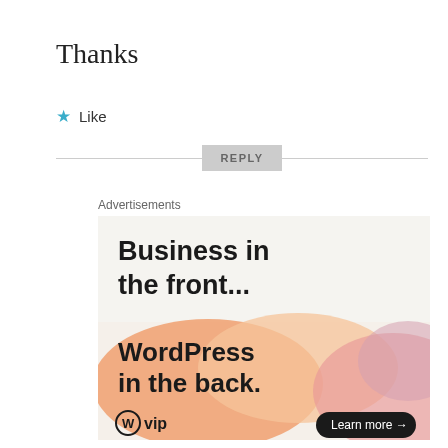Thanks
★ Like
REPLY
Advertisements
[Figure (illustration): WordPress VIP advertisement. Top section on light gray background reads 'Business in the front...' in bold. Bottom section has orange/pink gradient blob shapes with text 'WordPress in the back.' The WordPress 'W' logo with 'vip' text appears bottom left. A black rounded button 'Learn more →' appears bottom right.]